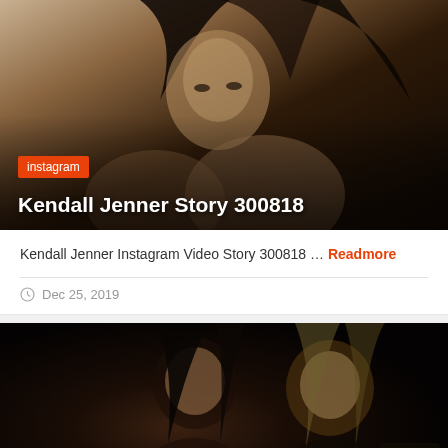[Figure (photo): Dark moody portrait photo of a model with dark hair, sepia/monochrome tones, subject looking intensely at camera]
instagram
Kendall Jenner Story 300818
Kendall Jenner Instagram Video Story 300818 ... Readmore
Dec 25, 2019
[Figure (photo): Dark photo of two young women at what appears to be a nighttime event, one with dark hair and one with blonde hair, someone taking a photo in background]
2013